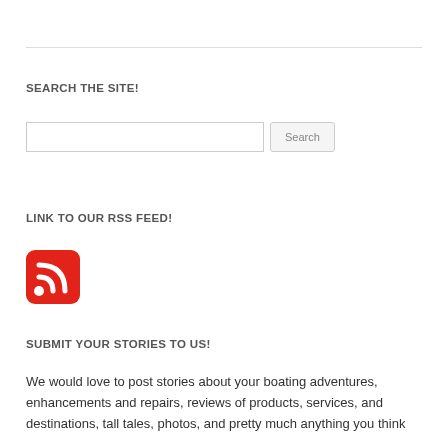SEARCH THE SITE!
[Figure (other): Search input field with Search button]
LINK TO OUR RSS FEED!
[Figure (logo): RSS feed icon - red rounded square with white RSS signal symbol]
SUBMIT YOUR STORIES TO US!
We would love to post stories about your boating adventures, enhancements and repairs, reviews of products, services, and destinations, tall tales, photos, and pretty much anything you think